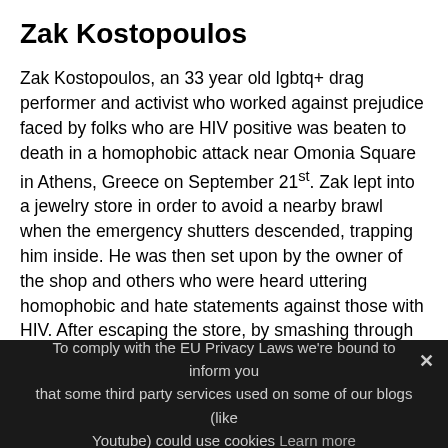Zak Kostopoulos
Zak Kostopoulos, an 33 year old lgbtq+ drag performer and activist who worked against prejudice faced by folks who are HIV positive was beaten to death in a homophobic attack near Omonia Square in Athens, Greece on September 21st. Zak lept into a jewelry store in order to avoid a nearby brawl when the emergency shutters descended, trapping him inside. He was then set upon by the owner of the shop and others who were heard uttering homophobic and hate statements against those with HIV. After escaping the store, by smashing through the window with a fire extinguisher, he was followed out by the owner and another thug. Zak was beaten to the ground while surrounded by mostly male onlookers. When police showed up, they handcuffed Zak. The murder was captured on camera. The shop owner was
To comply with the EU Privacy Laws we're bound to inform you that some third party services used on some of our blogs (like Youtube) could use cookies Learn more